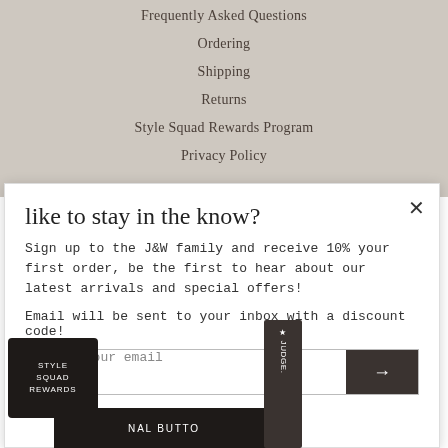Frequently Asked Questions
Ordering
Shipping
Returns
Style Squad Rewards Program
Privacy Policy
like to stay in the know?
Sign up to the J&W family and receive 10% your first order, be the first to hear about our latest arrivals and special offers!
Email will be sent to your inbox with a discount code!
Enter your email
STYLE SQUAD REWARDS
★ JUDGE.
NAL BUTTO